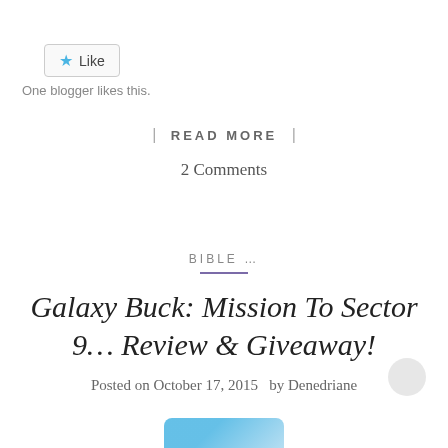[Figure (screenshot): Like button with blue star icon and 'Like' text, bordered box]
One blogger likes this.
| READ MORE |
2 Comments
BIBLE …
Galaxy Buck: Mission To Sector 9… Review & Giveaway!
Posted on October 17, 2015   by Denedriane